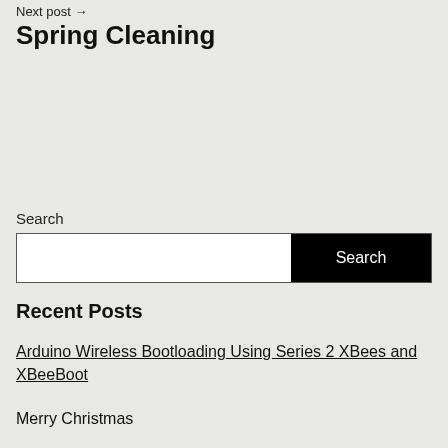Next post →
Spring Cleaning
Search
Search
Recent Posts
Arduino Wireless Bootloading Using Series 2 XBees and XBeeBoot
Merry Christmas